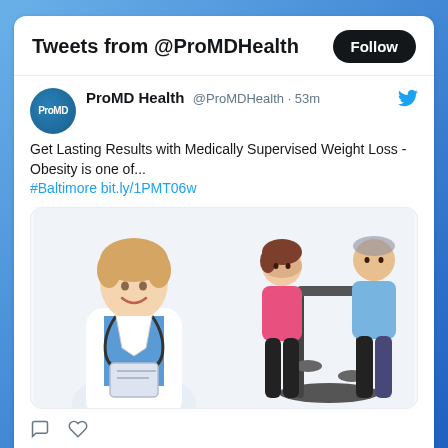Tweets from @ProMDHealth
ProMD Health @ProMDHealth · 53m
Get Lasting Results with Medically Supervised Weight Loss - Obesity is one of... #Baltimore bit.ly/1PMT06w
[Figure (photo): A female doctor in white coat with stethoscope smiling, and a couple using an elliptical exercise machine in the background]
ProMD Health @ProMDHealth · 14h
Can BOTOX® Injections Improve Depression? You may ask yourself how this